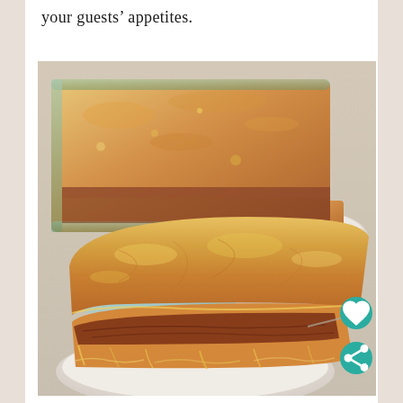your guests' appetites.
[Figure (photo): A casserole dish filled with a baked cornbread and meat layered dish, with a slice on a white plate in the background and a close-up slice on a white plate in the foreground, showing cheesy golden-brown top and meat filling layers.]